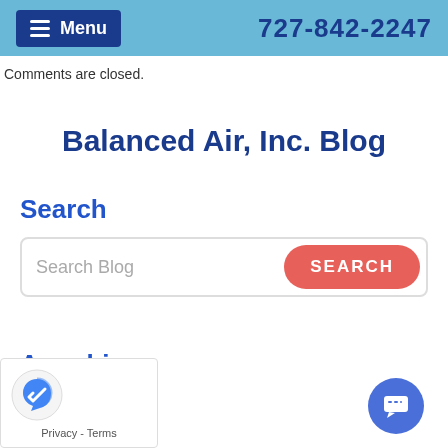Menu   727-842-2247
Comments are closed.
Balanced Air, Inc. Blog
Search
Search Blog [SEARCH button]
Archives
st 2022